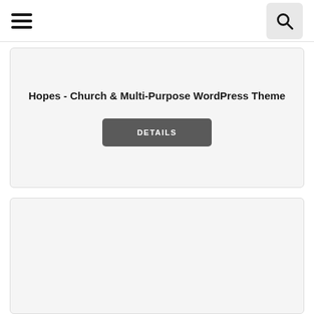Navigation header with hamburger menu and search button
Hopes - Church & Multi-Purpose WordPress Theme
DETAILS
[Figure (other): Empty card/panel area at the bottom of the page]